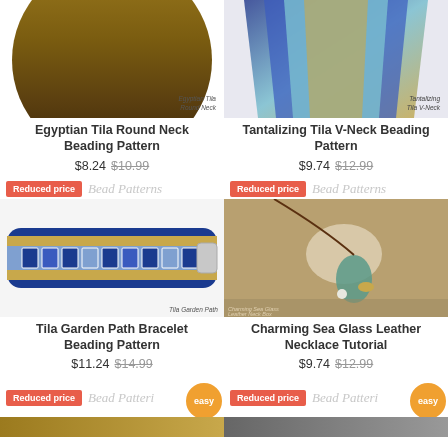[Figure (photo): Egyptian Tila Round Neck beading jewelry - brown/gold choker necklace, top portion visible]
[Figure (photo): Tantalizing Tila V-Neck beading pattern - blue, turquoise and gold V-shaped necklace]
Egyptian Tila Round Neck Beading Pattern
Tantalizing Tila V-Neck Beading Pattern
$8.24 $10.99
$9.74 $12.99
Reduced price Bead Patterns
Reduced price Bead Patterns
[Figure (photo): Tila Garden Path Bracelet - blue and gold beaded bracelet with magnetic clasp]
[Figure (photo): Charming Sea Glass Leather Necklace - sea glass pendant with gold fish charm on leather cord]
Tila Garden Path Bracelet Beading Pattern
Charming Sea Glass Leather Necklace Tutorial
$11.24 $14.99
$9.74 $12.99
Reduced price Bead Patterns easy
Reduced price Bead Patterns easy